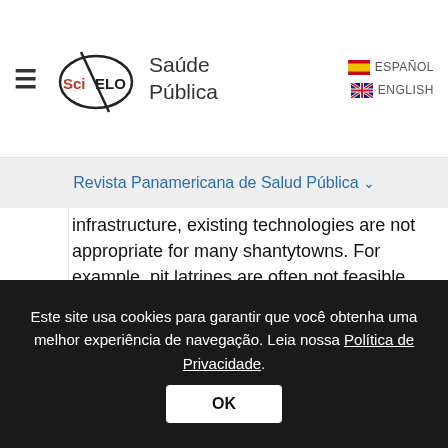SciELO Saúde Pública | ESPAÑOL | ENGLISH
Revista Panamericana de Salud Pública
infrastructure, existing technologies are not appropriate for many shantytowns. For example, pit latrines are often not feasible where housing density is extremely high, or where the terrain is unsuitable, such as rocky ground which makes digging pits difficult or impossible.
The World Health Organization encourages promotion of sanitary disposal of feces as a key water related behavior to improve health
Este site usa cookies para garantir que você obtenha uma melhor experiência de navegação. Leia nossa Política de Privacidade.